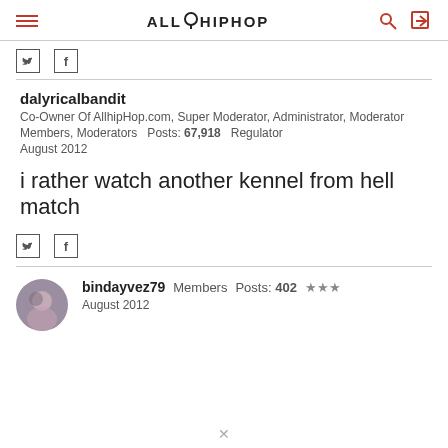ALL HIP HOP
Twitter share, Facebook share icons
dalyricalbandit — Co-Owner Of AllhipHop.com, Super Moderator, Administrator, Moderator Members, Moderators Posts: 67,918 Regulator August 2012
i rather watch another kennel from hell match
Twitter share, Facebook share icons
bindayvez79 Members Posts: 402 ★★★ August 2012